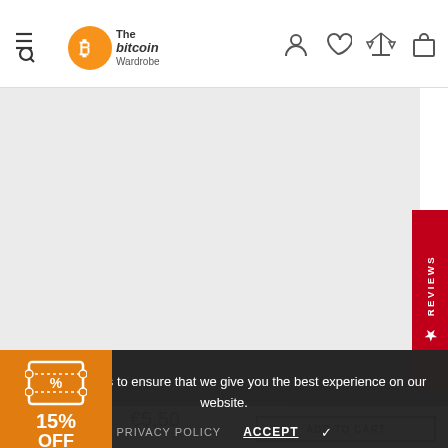The Bitcoin Wardrobe
[Figure (screenshot): Large light gray product image area]
[Figure (other): Red vertical REVIEWS tab on right side]
We use cookies to ensure that we give you the best experience on our website.
PRIVACY POLICY   ACCEPT ✓
[Figure (infographic): Orange coupon badge showing 15% OFF with countdown 14:56]
€5,50
3x3
ADD TO CART